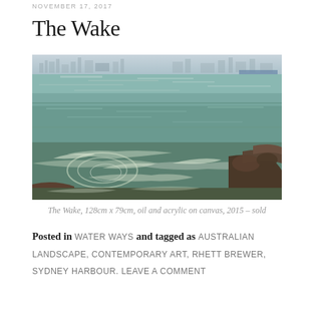NOVEMBER 17, 2017
The Wake
[Figure (photo): A painting of turbulent ocean water with swirling waves and foam in the foreground, rocks visible on the right, and a distant city skyline visible across calm water in the background. The water shows complex greens, browns, and whites.]
The Wake, 128cm x 79cm, oil and acrylic on canvas, 2015 – sold
Posted in WATER WAYS and tagged as AUSTRALIAN LANDSCAPE, CONTEMPORARY ART, RHETT BREWER, SYDNEY HARBOUR. LEAVE A COMMENT